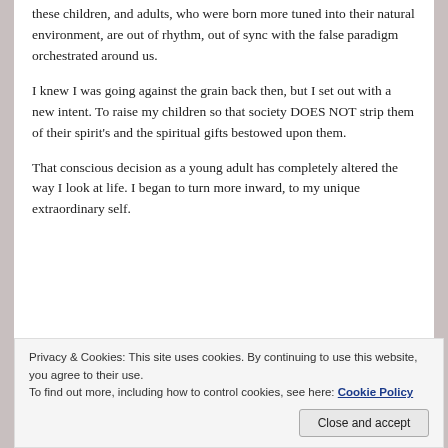these children, and adults, who were born more tuned into their natural environment, are out of rhythm, out of sync with the false paradigm orchestrated around us.
I knew I was going against the grain back then, but I set out with a new intent. To raise my children so that society DOES NOT strip them of their spirit's and the spiritual gifts bestowed upon them.
That conscious decision as a young adult has completely altered the way I look at life. I began to turn more inward, to my unique extraordinary self.
[Figure (photo): A partial photograph showing a dark, moody sky scene with what appears to be a red band at the bottom, partially cut off]
Privacy & Cookies: This site uses cookies. By continuing to use this website, you agree to their use.
To find out more, including how to control cookies, see here: Cookie Policy
Close and accept